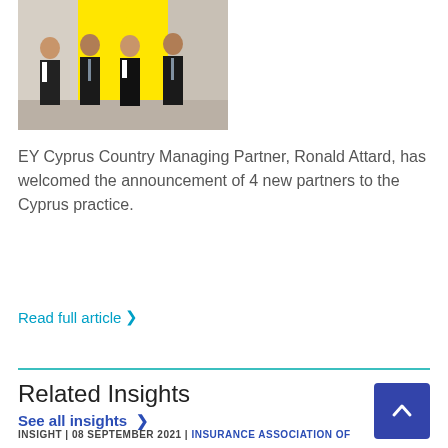[Figure (photo): Four people standing in formal business attire in front of a yellow EY logo backdrop. Two women and two men.]
EY Cyprus Country Managing Partner, Ronald Attard, has welcomed the announcement of 4 new partners to the Cyprus practice.
Read full article ›
Related Insights
See all insights ›
INSIGHT | 08 SEPTEMBER 2021 | INSURANCE ASSOCIATION OF